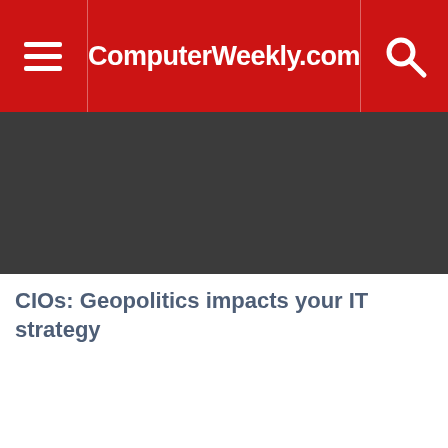ComputerWeekly.com
CIOs: Geopolitics impacts your IT strategy